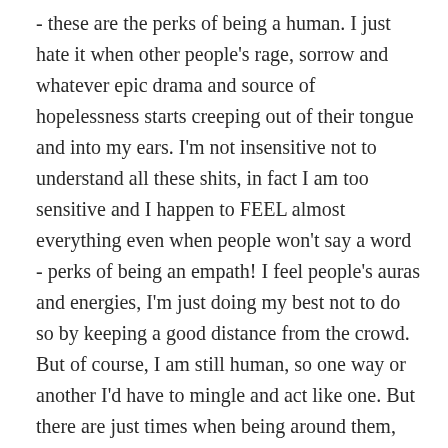- these are the perks of being a human. I just hate it when other people's rage, sorrow and whatever epic drama and source of hopelessness starts creeping out of their tongue and into my ears. I'm not insensitive not to understand all these shits, in fact I am too sensitive and I happen to FEEL almost everything even when people won't say a word - perks of being an empath! I feel people's auras and energies, I'm just doing my best not to do so by keeping a good distance from the crowd. But of course, I am still human, so one way or another I'd have to mingle and act like one. But there are just times when being around them, especially the wrong ones, is so pathetically draining! Have you ever stepped in a room with someone for about five seconds and then you feel like ending your life all of a sudden? If you have never felt that, ask yourself if maybe you make people feel that way. Do you ever feel like people are walking out of your way to avoid small talks with you? You know you don't have bad breath or body odor or any kind of